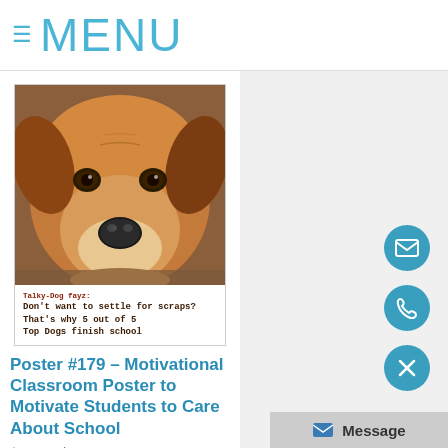≡ MENU
[Figure (photo): Close-up photo of a dog's face (beagle/hound mix) with motivational poster text: 'Talky-Dog fayz: Don't want to settle for scraps? That's why 5 out of 5 Top Dogs finish school']
Poster #179 – Motivational Classroom Poster to Motivate Students to Care About School
$11.00 $8.00
Add To Cart